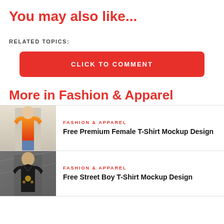You may also like...
RELATED TOPICS:
CLICK TO COMMENT
More in Fashion & Apparel
FASHION & APPAREL
Free Premium Female T-Shirt Mockup Design
FASHION & APPAREL
Free Street Boy T-Shirt Mockup Design